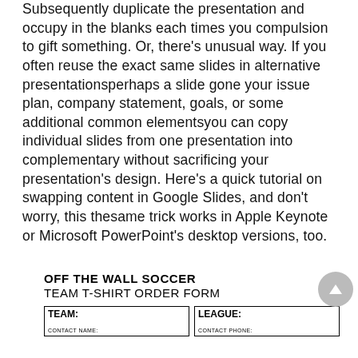Subsequently duplicate the presentation and occupy in the blanks each times you compulsion to gift something. Or, there's unusual way. If you often reuse the exact same slides in alternative presentationsperhaps a slide gone your issue plan, company statement, goals, or some additional common elementsyou can copy individual slides from one presentation into complementary without sacrificing your presentation's design. Here's a quick tutorial on swapping content in Google Slides, and don't worry, this thesame trick works in Apple Keynote or Microsoft PowerPoint's desktop versions, too.
OFF THE WALL SOCCER
TEAM T-SHIRT ORDER FORM
| TEAM: | LEAGUE: |
| --- | --- |
| CONTACT NAME: | CONTACT PHONE: |